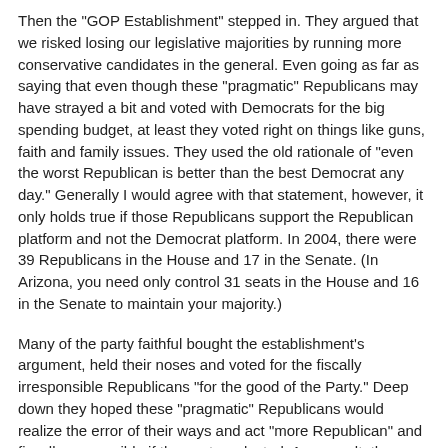Then the "GOP Establishment" stepped in. They argued that we risked losing our legislative majorities by running more conservative candidates in the general. Even going as far as saying that even though these "pragmatic" Republicans may have strayed a bit and voted with Democrats for the big spending budget, at least they voted right on things like guns, faith and family issues. They used the old rationale of "even the worst Republican is better than the best Democrat any day." Generally I would agree with that statement, however, it only holds true if those Republicans support the Republican platform and not the Democrat platform. In 2004, there were 39 Republicans in the House and 17 in the Senate. (In Arizona, you need only control 31 seats in the House and 16 in the Senate to maintain your majority.)
Many of the party faithful bought the establishment's argument, held their noses and voted for the fiscally irresponsible Republicans "for the good of the Party." Deep down they hoped these "pragmatic" Republicans would realize the error of their ways and act "more Republican" and fiscally responsible if they got re-elected. As a result, the fiscally conservative challengers were defeated and the "GOP Establishment" candidates got re-elected.
What did voting for the establishment candidate get us? Over the next few years, more and more spending occurred and